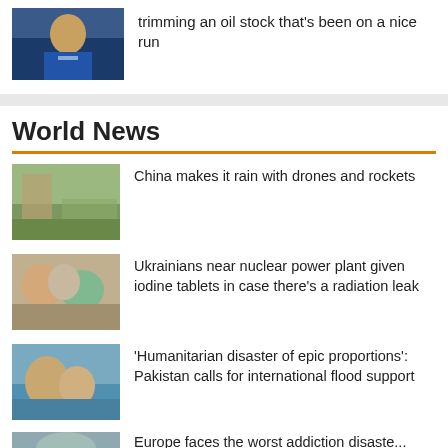[Figure (photo): Man in suit on TV set]
trimming an oil stock that's been on a nice run
World News
[Figure (photo): People outdoors in China]
China makes it rain with drones and rockets
[Figure (photo): Women sitting together, Ukraine]
Ukrainians near nuclear power plant given iodine tablets in case there's a radiation leak
[Figure (photo): People wading through flood water in Pakistan]
'Humanitarian disaster of epic proportions': Pakistan calls for international flood support
[Figure (photo): Partially visible image at bottom]
Europe faces the worst addiction disaster...